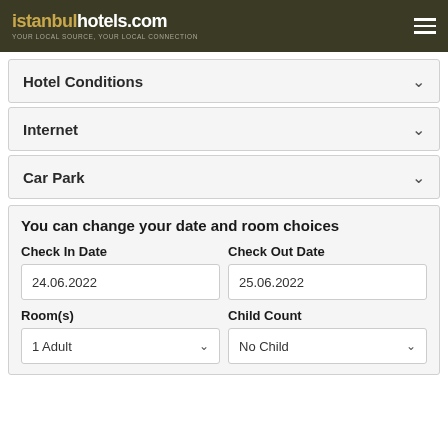istanbulhotels.com — YOUR LOCAL SOURCE, YOUR LOCAL CONNECTION
Hotel Conditions
Internet
Car Park
You can change your date and room choices
Check In Date: 24.06.2022
Check Out Date: 25.06.2022
Room(s): 1 Adult
Child Count: No Child